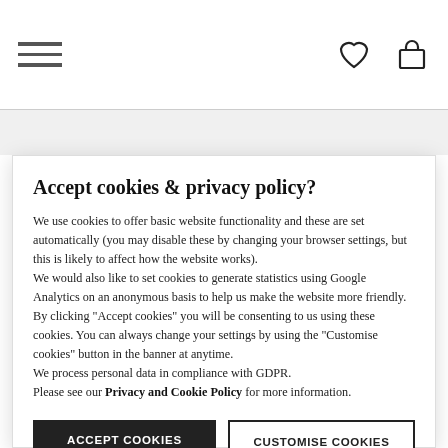Navigation header with hamburger menu, heart icon, and bag icon
PSYCHOLOGY STATISTICS FOR DUMMIES
Accept cookies & privacy policy?
We use cookies to offer basic website functionality and these are set automatically (you may disable these by changing your browser settings, but this is likely to affect how the website works). We would also like to set cookies to generate statistics using Google Analytics on an anonymous basis to help us make the website more friendly. By clicking "Accept cookies" you will be consenting to us using these cookies. You can always change your settings by using the "Customise cookies" button in the banner at anytime. We process personal data in compliance with GDPR. Please see our Privacy and Cookie Policy for more information.
ACCEPT COOKIES
CUSTOMISE COOKIES